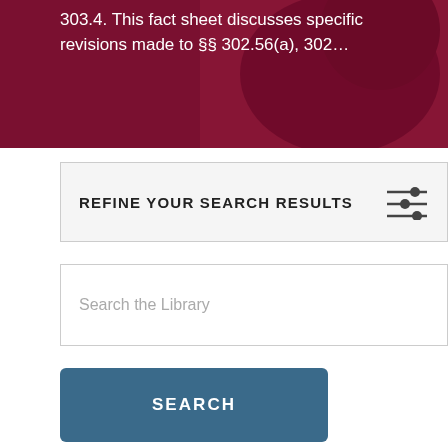[Figure (photo): Dark crimson/maroon hero image banner with overlaid white text excerpt about a fact sheet discussing specific revisions to sections 302.56(a) and 302...]
303.4. This fact sheet discusses specific revisions made to §§ 302.56(a), 302…
REFINE YOUR SEARCH RESULTS
Search the Library
SEARCH
Sort by   Most Recent     Items per page   10
Adoption & foster care (x)
Child welfare (x)